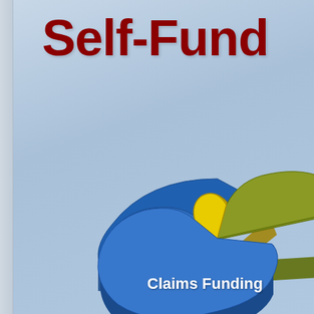Self-Fund
[Figure (pie-chart): 3D pie chart showing insurance self-funding breakdown. A large blue slice labeled 'Claims Funding' occupies roughly 60-65% of the chart. A yellow-gold slice occupies roughly 10-12%. A dark olive/green slice occupies roughly 25-28%. The chart is rendered in a 3D perspective style and is partially cropped at the right edge of the page.]
Claims Funding